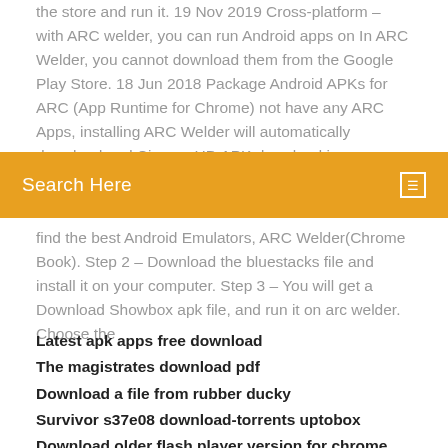the store and run it. 19 Nov 2019 Cross-platform – with ARC welder, you can run Android apps on In ARC Welder, you cannot download them from the Google Play Store. 18 Jun 2018 Package Android APKs for ARC (App Runtime for Chrome) not have any ARC Apps, installing ARC Welder will automatically download and Cinema HD APK download is a very simple and
Search Here
find the best Android Emulators, ARC Welder(Chrome Book). Step 2 – Download the bluestacks file and install it on your computer. Step 3 – You will get a Download Showbox apk file, and run it on arc welder. Choose the
Latest apk apps free download
The magistrates download pdf
Download a file from rubber ducky
Survivor s37e08 download-torrents uptobox
Download older flash player version for chrome
Plumber download file upload download